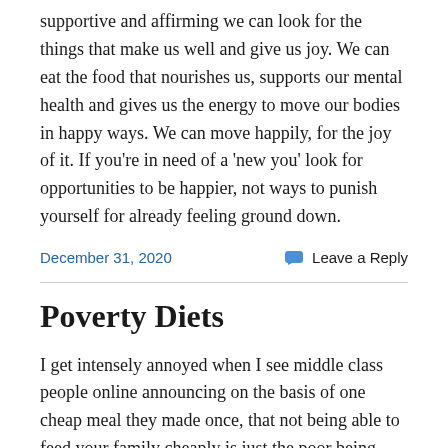supportive and affirming we can look for the things that make us well and give us joy. We can eat the food that nourishes us, supports our mental health and gives us the energy to move our bodies in happy ways. We can move happily, for the joy of it. If you're in need of a 'new you' look for opportunities to be happier, not ways to punish yourself for already feeling ground down.
December 31, 2020    Leave a Reply
Poverty Diets
I get intensely annoyed when I see middle class people online announcing on the basis of one cheap meal they made once, that not being able to feed your family cheaply is just the poor being crap. That it's lousy budgeting, lack